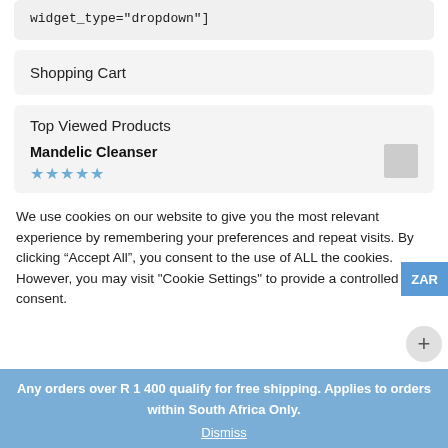widget_type="dropdown"]
Shopping Cart
Top Viewed Products
Mandelic Cleanser
We use cookies on our website to give you the most relevant experience by remembering your preferences and repeat visits. By clicking “Accept All”, you consent to the use of ALL the cookies. However, you may visit "Cookie Settings" to provide a controlled consent.
Any orders over R 1 400 qualify for free shipping. Applies to orders within South Africa Only.
Dismiss